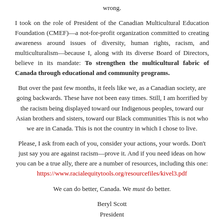wrong.
I took on the role of President of the Canadian Multicultural Education Foundation (CMEF)—a not-for-profit organization committed to creating awareness around issues of diversity, human rights, racism, and multiculturalism—because I, along with its diverse Board of Directors, believe in its mandate: To strengthen the multicultural fabric of Canada through educational and community programs.
But over the past few months, it feels like we, as a Canadian society, are going backwards. These have not been easy times. Still, I am horrified by the racism being displayed toward our Indigenous peoples, toward our Asian brothers and sisters, toward our Black communities This is not who we are in Canada. This is not the country in which I chose to live.
Please, I ask from each of you, consider your actions, your words. Don't just say you are against racism—prove it. And if you need ideas on how you can be a true ally, there are a number of resources, including this one: https://www.racialequitytools.org/resourcefiles/kivel3.pdf
We can do better, Canada. We must do better.
Beryl Scott
President